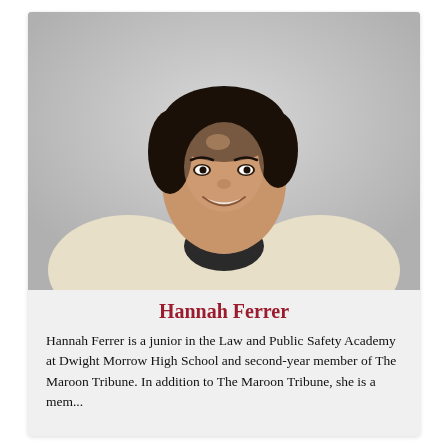[Figure (photo): Portrait photo of Hannah Ferrer, a young woman smiling, wearing a cream blazer over a patterned top with a purple floral necklace, against a light gray background.]
Hannah Ferrer
Hannah Ferrer is a junior in the Law and Public Safety Academy at Dwight Morrow High School and second-year member of The Maroon Tribune. In addition to The Maroon Tribune, she is a mem...